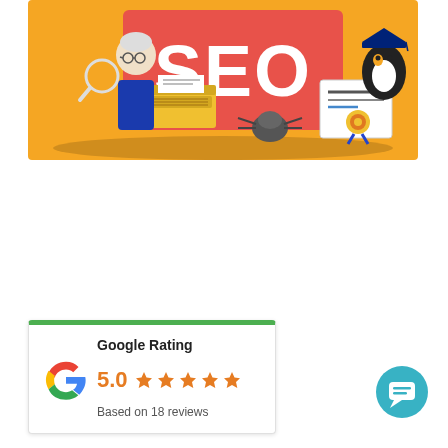[Figure (illustration): SEO educational illustration with orange background showing large pink/red sign reading 'SEO', an elderly woman with a magnifying glass, a yellow typewriter, a spider, a certificate/diploma, and a penguin wearing a graduation cap.]
[Figure (infographic): Google Rating card widget with green top border, Google 'G' logo, bold text 'Google Rating', rating score 5.0 in orange, five orange stars, and text 'Based on 18 reviews']
[Figure (illustration): Teal/cyan circular chat bubble button in bottom right corner]